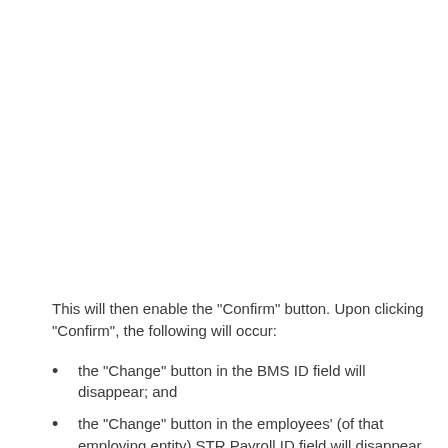This will then enable the "Confirm" button. Upon clicking "Confirm", the following will occur:
the "Change" button in the BMS ID field will disappear; and
the "Change" button in the employees' (of that employing entity) STR Payroll ID field will disappear